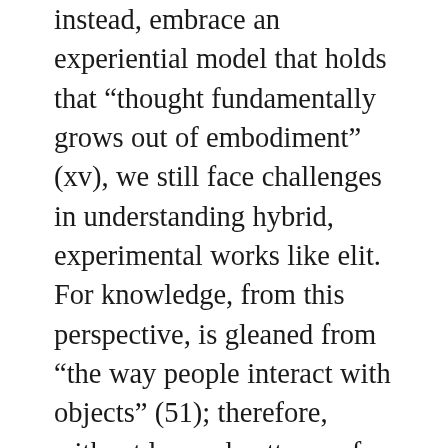instead, embrace an experiential model that holds that "thought fundamentally grows out of embodiment" (xv), we still face challenges in understanding hybrid, experimental works like elit. For knowledge, from this perspective, is gleaned from "the way people interact with objects" (51); therefore, without learned patterns of activity, what Espen Aarseth hints at when he alludes to trivial activity (94), then we literally may not be able to suss out what a thing truly is. If we try to compare the experience we have with elit, which differs so vastly from work to work, to the predictable physical interaction we have with a book, then rolling a cursor over an image, as one does with Donna Leishman's "Red Riding Hood;"